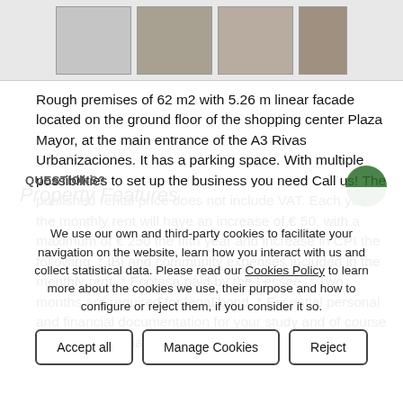[Figure (photo): Four property interior photos shown in a horizontal strip at the top of the page]
Rough premises of 62 m2 with 5.26 m linear facade located on the ground floor of the shopping center Plaza Mayor, at the main entrance of the A3 Rivas Urbanizaciones. It has a parking space. With multiple possibilities to set up the business you need Call us! The published rental price does not include VAT. Each year the monthly rent will have an increase of € 50, with a maximum of € 250 the fifth year and increase in CPI the following. * IBI and community expenses included in the monthly rent. * Ecotasa paid by the Lessee. * Two months are required for legal bond. * Essential personal and financial documentation for your study and of course you been negotiated
QUESTIONS?
Property Features
We use our own and third-party cookies to facilitate your navigation on the website, learn how you interact with us and collect statistical data. Please read our Cookies Policy to learn more about the cookies we use, their purpose and how to configure or reject them, if you consider it so.